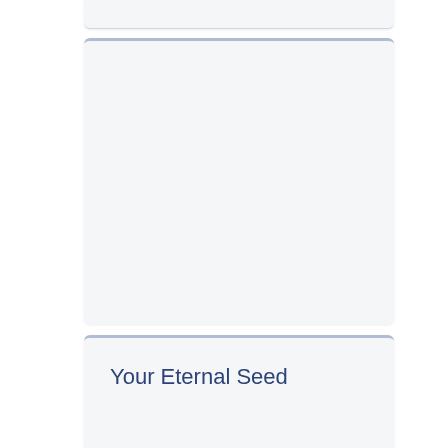[Figure (other): Top partial card/panel with light blue-gray top border, light gray background, partially visible at top of page]
[Figure (other): Middle large card/panel with light blue-gray top border and light gray background, empty content area]
Your Eternal Seed